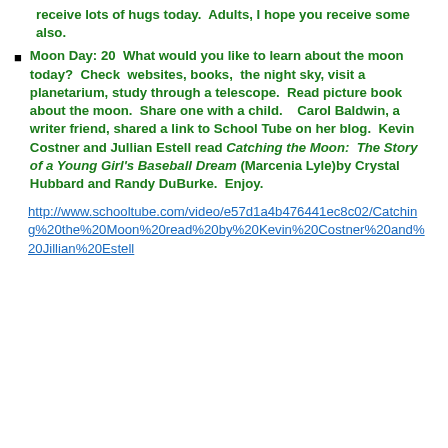receive lots of hugs today.  Adults, I hope you receive some also.
Moon Day: 20  What would you like to learn about the moon today?  Check  websites, books,  the night sky, visit a planetarium, study through a telescope.  Read picture book about the moon.  Share one with a child.    Carol Baldwin, a writer friend, shared a link to School Tube on her blog.  Kevin Costner and Jullian Estell read Catching the Moon:  The Story of a Young Girl's Baseball Dream (Marcenia Lyle)by Crystal Hubbard and Randy DuBurke.  Enjoy.
http://www.schooltube.com/video/e57d1a4b476441ec8c02/Catching%20the%20Moon%20read%20by%20Kevin%20Costner%20and%20Jillian%20Estell